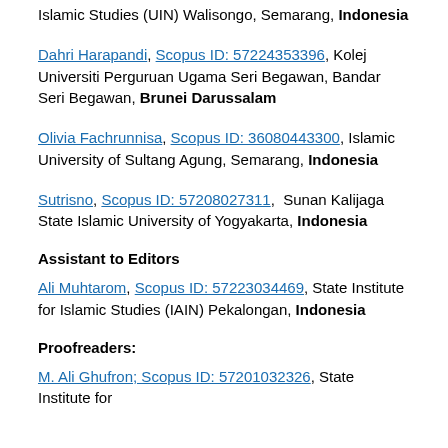Islamic Studies (UIN) Walisongo, Semarang, Indonesia
Dahri Harapandi, Scopus ID: 57224353396, Kolej Universiti Perguruan Ugama Seri Begawan, Bandar Seri Begawan, Brunei Darussalam
Olivia Fachrunnisa, Scopus ID: 36080443300, Islamic University of Sultang Agung, Semarang, Indonesia
Sutrisno, Scopus ID: 57208027311,  Sunan Kalijaga State Islamic University of Yogyakarta, Indonesia
Assistant to Editors
Ali Muhtarom, Scopus ID: 57223034469, State Institute for Islamic Studies (IAIN) Pekalongan, Indonesia
Proofreaders:
M. Ali Ghufron; Scopus ID: 57201032326, State Institute for